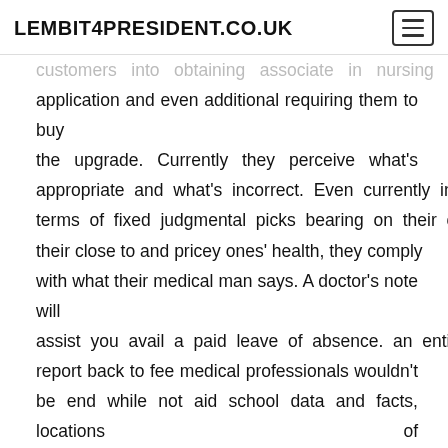LEMBIT4PRESIDENT.CO.UK
customers into obtaining associate in nursing application and even additional requiring them to buy the upgrade. Currently they perceive what's appropriate and what's incorrect. Even currently in terms of fixed judgmental picks bearing on their or their close to and pricey ones' health, they comply with what their medical man says. A doctor's note will assist you avail a paid leave of absence. an entire report back to fee medical professionals wouldn't be end while not aid school data and facts, locations of experience, patient ratings and opinions, awards and distinctions, publications, and insurance accepted. each single of these elements area unit vital to think about into thought once choosing out your new doctor. Some can solely give you vesicle unit